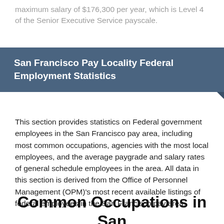maximum salary of $176,300 per year, which is Level 4 of the Senior Executive Service payscale.
San Francisco Pay Locality Federal Employment Statistics
This section provides statistics on Federal government employees in the San Francisco pay area, including most common occupations, agencies with the most local employees, and the average paygrade and salary rates of general schedule employees in the area. All data in this section is derived from the Office of Personnel Management (OPM)'s most recent available listings of federal employees in the San Francisco pay area.
Common Occupations in San Francisco Locality